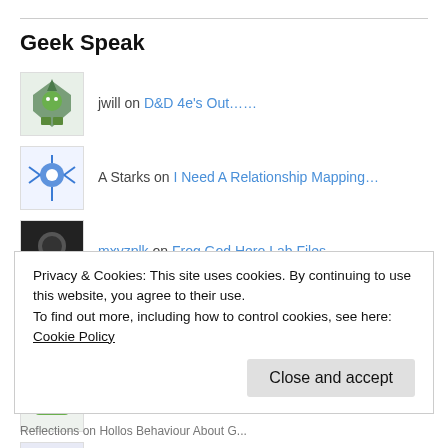Geek Speak
jwill on D&D 4e's Out……
A Starks on I Need A Relationship Mapping…
mxyzplk on Frog God Hero Lab Files
ionikknight on Frog God Hero Lab Files
Richard Cheimison on Why the Rule of Cool Is Not Co…
Jon Visser on D&D 4e's Out……
Privacy & Cookies: This site uses cookies. By continuing to use this website, you agree to their use. To find out more, including how to control cookies, see here: Cookie Policy
Close and accept